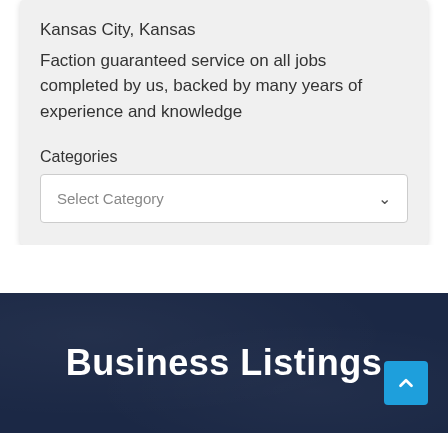Kansas City, Kansas
Faction guaranteed service on all jobs completed by us, backed by many years of experience and knowledge
Categories
Select Category
Business Listings